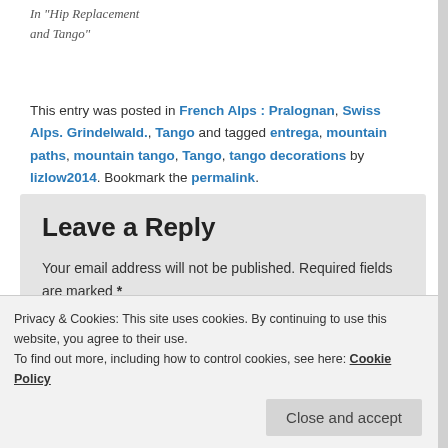In "Hip Replacement and Tango"
This entry was posted in French Alps : Pralognan, Swiss Alps. Grindelwald., Tango and tagged entrega, mountain paths, mountain tango, Tango, tango decorations by lizlow2014. Bookmark the permalink.
Leave a Reply
Your email address will not be published. Required fields are marked *
Privacy & Cookies: This site uses cookies. By continuing to use this website, you agree to their use.
To find out more, including how to control cookies, see here: Cookie Policy